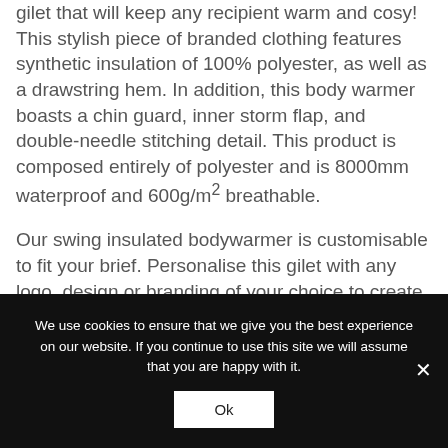This swing insulated bodywamer is a waterproof gilet that will keep any recipient warm and cosy! This stylish piece of branded clothing features synthetic insulation of 100% polyester, as well as a drawstring hem. In addition, this body warmer boasts a chin guard, inner storm flap, and double-needle stitching detail. This product is composed entirely of polyester and is 8000mm waterproof and 600g/m² breathable.
Our swing insulated bodywarmer is customisable to fit your brief. Personalise this gilet with any logo, design or branding of your choice to create some
We use cookies to ensure that we give you the best experience on our website. If you continue to use this site we will assume that you are happy with it.
Ok